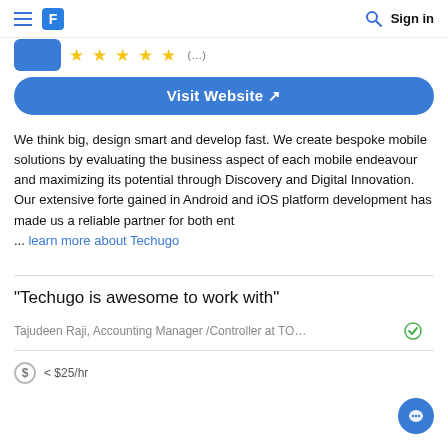≡ [logo] Sign in
[Figure (screenshot): Blue button, star rating row with partially visible review count]
Visit Website ↗
We think big, design smart and develop fast. We create bespoke mobile solutions by evaluating the business aspect of each mobile endeavour and maximizing its potential through Discovery and Digital Innovation. Our extensive forte gained in Android and iOS platform development has made us a reliable partner for both ent ... learn more about Techugo
"Techugo is awesome to work with"
Tajudeen Raji, Accounting Manager /Controller at TO…
< $25/hr